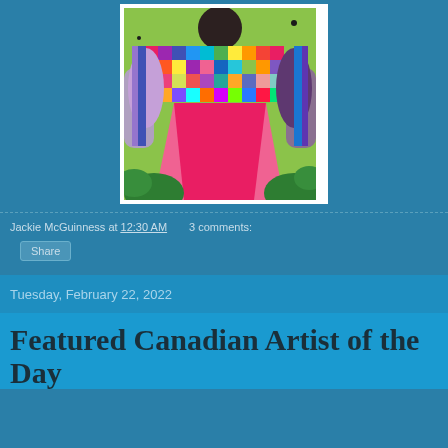[Figure (illustration): Painting of a figure holding up a colorful patchwork quilt/blanket with multicolored squares. The background is bright green/lime. The lower portion shows pink fabric draped and green foliage.]
Jackie McGuinness at 12:30 AM   3 comments:
Share
Tuesday, February 22, 2022
Featured Canadian Artist of the Day